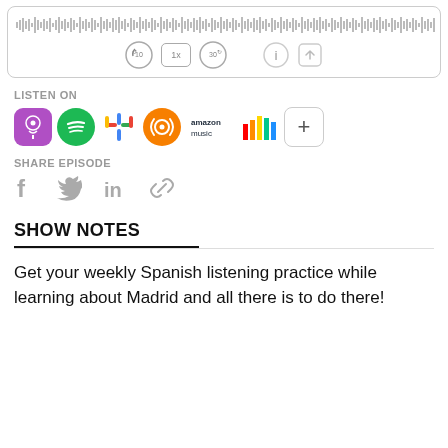[Figure (screenshot): Audio player widget with waveform and playback controls: skip back 10s, 1x speed, skip forward 30s, info icon, share icon]
LISTEN ON
[Figure (infographic): Podcast platform icons: Apple Podcasts, Spotify, Google Podcasts, Overcast, Amazon Music, Deezer, plus more button]
SHARE EPISODE
[Figure (infographic): Social share icons: Facebook, Twitter, LinkedIn, copy link]
SHOW NOTES
Get your weekly Spanish listening practice while learning about Madrid and all there is to do there!